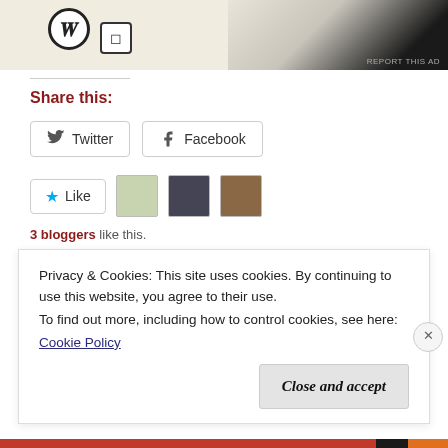[Figure (screenshot): Top advertisement area with WordPress logo, Square logo, and product images on dark background. 'REPORT THIS AD' text in bottom right.]
Share this:
[Figure (screenshot): Twitter share button and Facebook share button side by side]
[Figure (screenshot): Like button with star icon, followed by three blogger avatar thumbnails]
3 bloggers like this.
[Figure (other): Link/share icon (chain links) inside a light grey box]
Privacy & Cookies: This site uses cookies. By continuing to use this website, you agree to their use.
To find out more, including how to control cookies, see here:
Cookie Policy
Close and accept